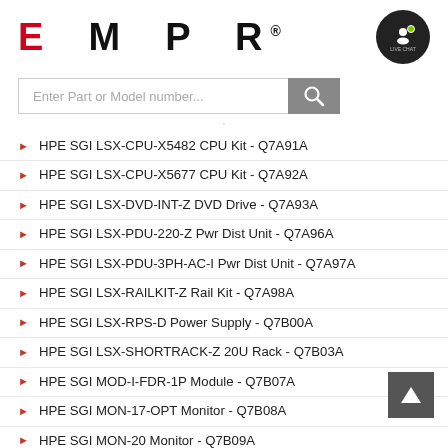[Figure (logo): EMPR logo with red E and black MPR letters with registered trademark symbol]
[Figure (screenshot): Search bar with placeholder 'Enter Part or Model number...' and grey search button, plus Live Chat icon button]
HPE SGI LSX-CPU-X5482 CPU Kit - Q7A91A
HPE SGI LSX-CPU-X5677 CPU Kit - Q7A92A
HPE SGI LSX-DVD-INT-Z DVD Drive - Q7A93A
HPE SGI LSX-PDU-220-Z Pwr Dist Unit - Q7A96A
HPE SGI LSX-PDU-3PH-AC-I Pwr Dist Unit - Q7A97A
HPE SGI LSX-RAILKIT-Z Rail Kit - Q7A98A
HPE SGI LSX-RPS-D Power Supply - Q7B00A
HPE SGI LSX-SHORTRACK-Z 20U Rack - Q7B03A
HPE SGI MOD-I-FDR-1P Module - Q7B07A
HPE SGI MON-17-OPT Monitor - Q7B08A
HPE SGI MON-20 Monitor - Q7B09A